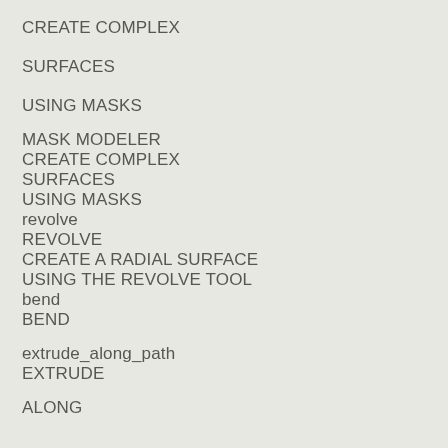CREATE COMPLEX SURFACES USING MASKS
MASK MODELER
CREATE COMPLEX SURFACES USING MASKS
revolve
REVOLVE
CREATE A RADIAL SURFACE USING THE REVOLVE TOOL
bend
BEND
extrude_along_path
EXTRUDE
ALONG